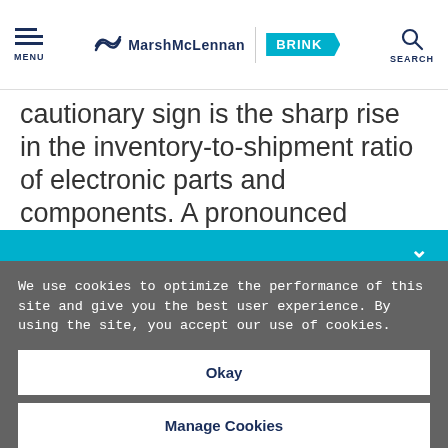MENU | MarshMcLennan BRINK | SEARCH
cautionary sign is the sharp rise in the inventory-to-shipment ratio of electronic parts and components. A pronounced downturn in tech would particularly hurt Taiwan, as electronic products, broadly
We use cookies to optimize the performance of this site and give you the best user experience. By using the site, you accept our use of cookies.
Okay
Manage Cookies